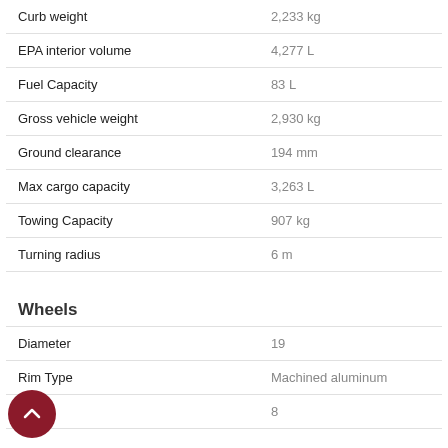| Specification | Value |
| --- | --- |
| Curb weight | 2,233 kg |
| EPA interior volume | 4,277 L |
| Fuel Capacity | 83 L |
| Gross vehicle weight | 2,930 kg |
| Ground clearance | 194 mm |
| Max cargo capacity | 3,263 L |
| Towing Capacity | 907 kg |
| Turning radius | 6 m |
Wheels
| Specification | Value |
| --- | --- |
| Diameter | 19 |
| Rim Type | Machined aluminum |
| Width | 8 |
Windows
| Specification | Value |
| --- | --- |
| Front wipers - intermittent | Variable intermittent |
| One-touch windows | 2 |
| Power windows | Power windows |